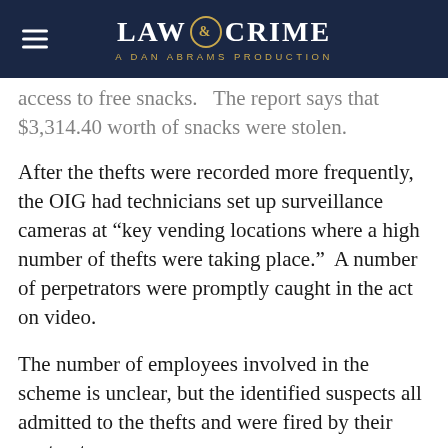LAW & CRIME — A DAN ABRAMS PRODUCTION
access to free snacks.   The report says that $3,314.40 worth of snacks were stolen.
After the thefts were recorded more frequently, the OIG had technicians set up surveillance cameras at “key vending locations where a high number of thefts were taking place.”  A number of perpetrators were promptly caught in the act on video.
The number of employees involved in the scheme is unclear, but the identified suspects all admitted to the thefts and were fired by their contract